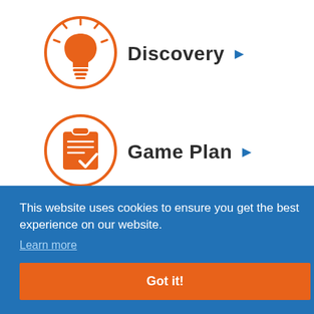[Figure (illustration): Orange circle with lightbulb icon (Discovery step icon)]
Discovery ▶
[Figure (illustration): Orange circle with clipboard/checklist icon (Game Plan step icon)]
Game Plan ▶
[Figure (illustration): Partial orange circle (third step icon, partially visible)]
This website uses cookies to ensure you get the best experience on our website.
Learn more
Got it!